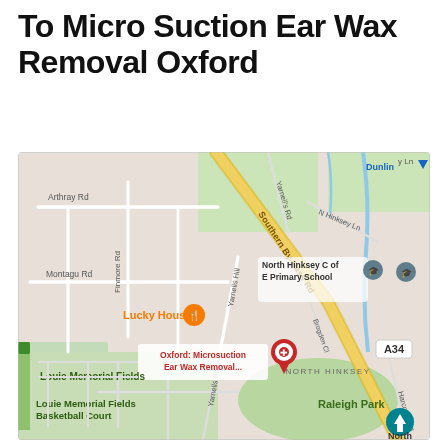To Micro Suction Ear Wax Removal Oxford
[Figure (map): Google Maps screenshot showing the area around North Hinksey, Oxford. Key landmarks include: Oxford: Microsuction Ear Wax Removal location marker (red pin), Lucky House restaurant (orange pin), North Hinksey C of E Primary School, Louie Memorial Fields, Louie Memorial Fields Basketball Court, Raleigh Park, North Hinksey area label. Roads shown include Southern By-Pass Rd (A34), Yarnell's Rd, N Hinksey Ln, Arthray Rd, Finmore Rd, Montagu Rd, Yarnells Hill, Brogden Cl, Harcourt Hill.]